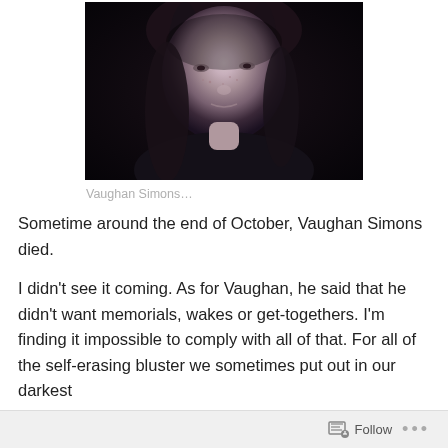[Figure (photo): Black and white portrait photograph of Vaughan Simons, showing face and shoulders against a dark background]
Vaughan Simons…
Sometime around the end of October, Vaughan Simons died.
I didn't see it coming. As for Vaughan, he said that he didn't want memorials, wakes or get-togethers. I'm finding it impossible to comply with all of that. For all of the self-erasing bluster we sometimes put out in our darkest
Follow …